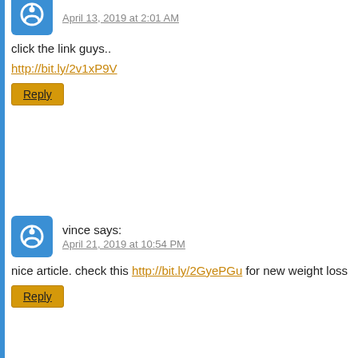April 13, 2019 at 2:01 AM
click the link guys..
http://bit.ly/2v1xP9V
Reply
vince says:
April 21, 2019 at 10:54 PM
nice article. check this http://bit.ly/2GyePGu for new weight los...
Reply
vhon Albert Cuevillas says:
April 28, 2019 at 2:01 AM
i love the article but theres a product that may help you eating ...